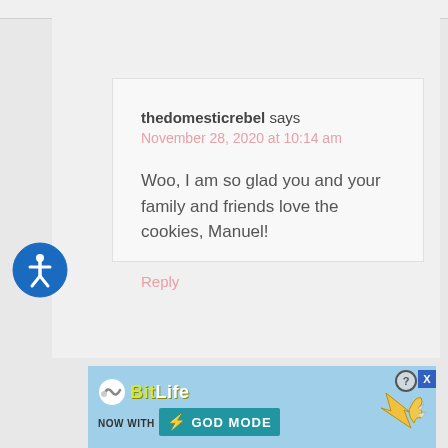thedomesticrebel says
November 28, 2020 at 10:14 am

Woo, I am so glad you and your family and friends love the cookies, Manuel!

Reply
[Figure (illustration): Blue circular accessibility icon with a person figure in white]
[Figure (screenshot): BitLife advertisement banner: 'NOW WITH GOD MODE' on a light blue background with a hand pointing graphic]